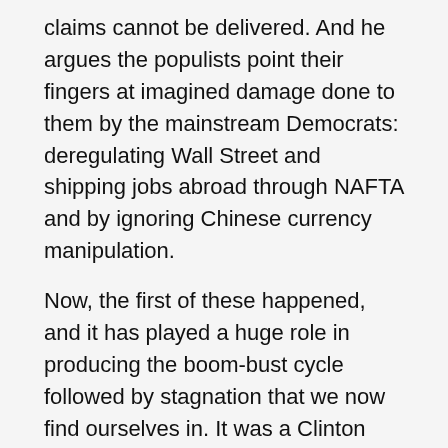claims cannot be delivered. And he argues the populists point their fingers at imagined damage done to them by the mainstream Democrats: deregulating Wall Street and shipping jobs abroad through NAFTA and by ignoring Chinese currency manipulation.
Now, the first of these happened, and it has played a huge role in producing the boom-bust cycle followed by stagnation that we now find ourselves in. It was a Clinton deal. Bill and Bob and Larry. All of them presumed advisors to a presumptive Hillary administration.
And while I side with DeLong in criticizing the second two claims, I don't know many Bernie supporters who make them. NAFTA had little to do with loss of America's jobs (but a lot to do with destruction of Mexican agriculture—that pushed migration to the US), and the accusations against China amount to little more than "red-baiting"